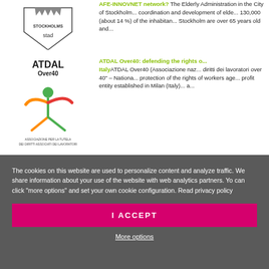[Figure (logo): Stockholms stad logo - shield with crown and text 'STOCKHOLMS stad']
AFE-INNOVNET network? The Elderly Administration in the City of Stockholm... coordination and development of elder... 130,000 (about 14 %) of the inhabitants Stockholm are over 65 years old and...
[Figure (logo): ATDAL Over40 logo - colorful stick figure with text 'ATDAL Over40' and 'ASSOCIAZIONE PER LA TUTELA DEI DIRITTI ASSOCIATI DEI LAVORATORI']
ATDAL Over40: defending the rights of... Italy ATDAL Over40 (Associazione naz... diritti dei lavoratori over 40" – Nationa... protection of the rights of workers age... profit entity established in Milan (Italy)... a...
The cookies on this website are used to personalize content and analyze traffic. We share information about your use of the website with web analytics partners. Yo can click "more options" and set your own cookie configuration. Read privacy policy
I ACCEPT
More options